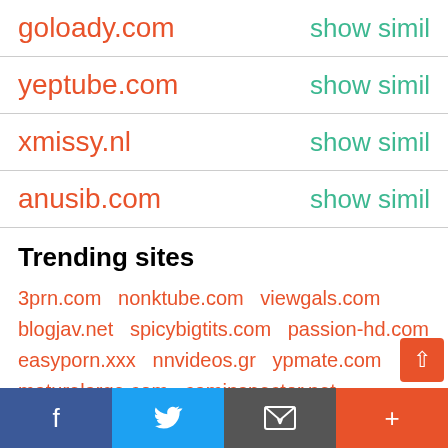goloady.com   show simil
yeptube.com   show simil
xmissy.nl   show simil
anusib.com   show simil
Trending sites
3prn.com  nonktube.com  viewgals.com  blogjav.net  spicybigtits.com  passion-hd.com  easyporn.xxx  nnvideos.gr  ypmate.com  maturelarge.com  caminspector.net  mydirtyhobby.com  pornharlot.net  special.com
f  Twitter  email  +